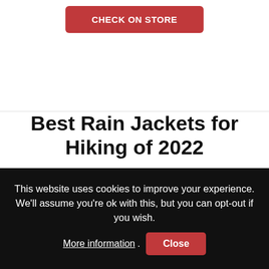[Figure (other): Red button labeled CHECK ON STORE at top of page]
Best Rain Jackets for Hiking of 2022
[Figure (photo): Travel banner with mountain/foggy background and person silhouette, text: Do You Want to Travel FOREVER??]
This website uses cookies to improve your experience. We'll assume you're ok with this, but you can opt-out if you wish. More information. Close